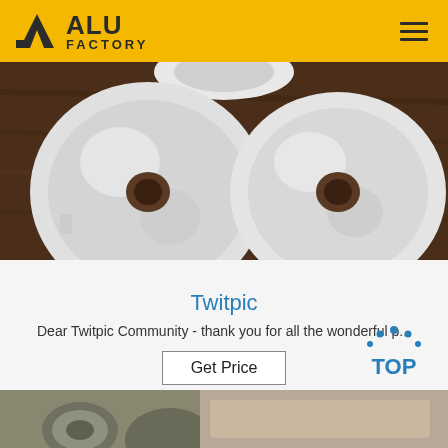ALU FACTORY
[Figure (photo): Two shiny aluminium disc/foil rolls viewed from above on a dark wooden surface]
Twitpic
Dear Twitpic Community - thank you for all the wonderful p...
Get Price
[Figure (logo): TOP button icon with dots forming an arc above the text TOP in blue]
[Figure (photo): Bottom portion of industrial aluminium roll/foil product photo]